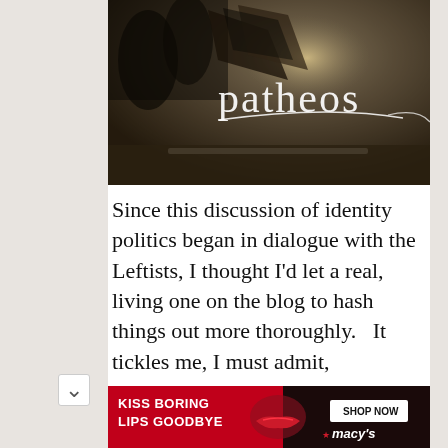[Figure (screenshot): Patheos website header banner with dark outdoor background photo and white 'patheos' logo text with a swoosh graphic]
Since this discussion of identity politics began in dialogue with the Leftists, I thought I'd let a real, living one on the blog to hash things out more thoroughly.   It tickles me, I must admit,
[Figure (photo): Macy's advertisement banner: red background on left with white text 'KISS BORING LIPS GOODBYE', center photo of woman's face with red lips, right side dark with 'SHOP NOW' button and Macy's star logo]